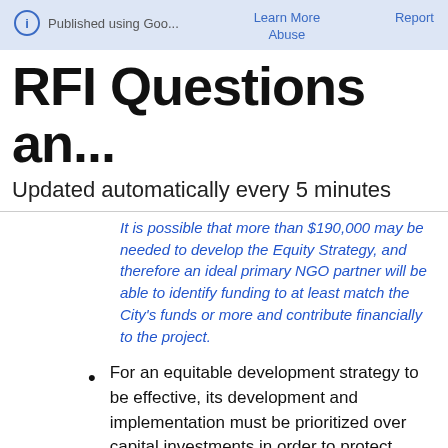Published using Goo...   Learn More   Report   Abuse
RFI Questions an...
Updated automatically every 5 minutes
It is possible that more than $190,000 may be needed to develop the Equity Strategy, and therefore an ideal primary NGO partner will be able to identify funding to at least match the City's funds or more and contribute financially to the project.
For an equitable development strategy to be effective, its development and implementation must be prioritized over capital investments in order to protect residents and communities...